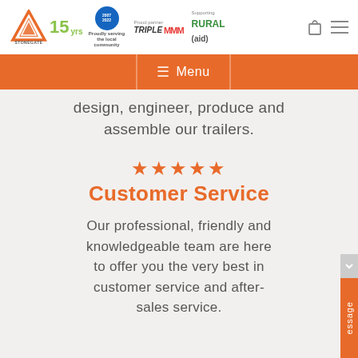[Figure (logo): Stonegate Industries logo with triangle/mountain mark and text, 15 years badge, 2007-2022 proudly serving the local community badge, Proud partner Triple M logo, Supporting Rural Aid logo]
Menu navigation bar with orange background
design, engineer, produce and assemble our trailers.
Customer Service
Our professional, friendly and knowledgeable team are here to offer you the very best in customer service and after-sales service.